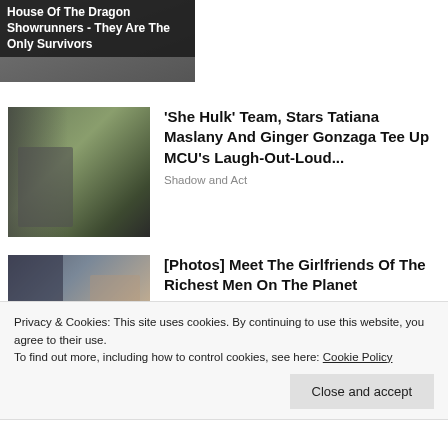[Figure (photo): Partial banner image with dark overlay showing text about House Of The Dragon Showrunners]
House Of The Dragon Showrunners - They Are The Only Survivors
[Figure (photo): Image of a large green-skinned figure (She-Hulk character) in outdoor setting]
'She Hulk' Team, Stars Tatiana Maslany And Ginger Gonzaga Tee Up MCU's Laugh-Out-Loud...
Shadow and Act
[Figure (photo): Image of a man in suit and a woman with sunglasses outdoors]
[Photos] Meet The Girlfriends Of The Richest Men On The Planet
Bon Voyaged
Privacy & Cookies: This site uses cookies. By continuing to use this website, you agree to their use.
To find out more, including how to control cookies, see here: Cookie Policy
Close and accept